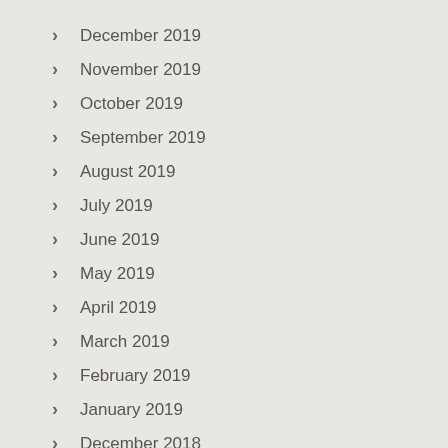December 2019
November 2019
October 2019
September 2019
August 2019
July 2019
June 2019
May 2019
April 2019
March 2019
February 2019
January 2019
December 2018
November 2018